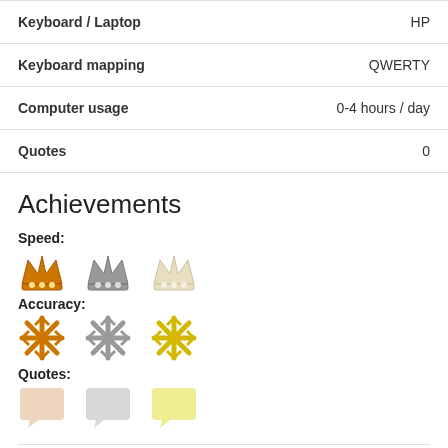| Keyboard / Laptop | HP |
| Keyboard mapping | QWERTY |
| Computer usage | 0-4 hours / day |
| Quotes | 0 |
Achievements
Speed:
[Figure (illustration): Three crown icons: bronze/orange, silver/gray, pale/white representing speed achievement badges]
Accuracy:
[Figure (illustration): Three snowflake icons: bronze/orange, silver/gray, gold/yellow representing accuracy achievement badges]
Quotes:
[Figure (illustration): Three speech bubble icons: pale peach, pale gray, pale yellow representing quotes achievement badges]